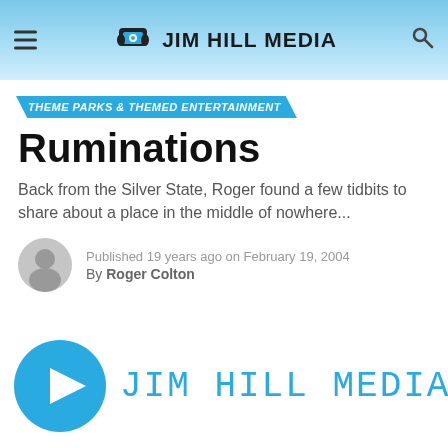Jim Hill Media
THEME PARKS & THEMED ENTERTAINMENT
Ruminations
Back from the Silver State, Roger found a few tidbits to share about a place in the middle of nowhere...
Published 19 years ago on February 19, 2004
By Roger Colton
[Figure (logo): Jim Hill Media podcast logo: cyan play button circle with JIM HILL MEDIA text in cyan handwritten style]